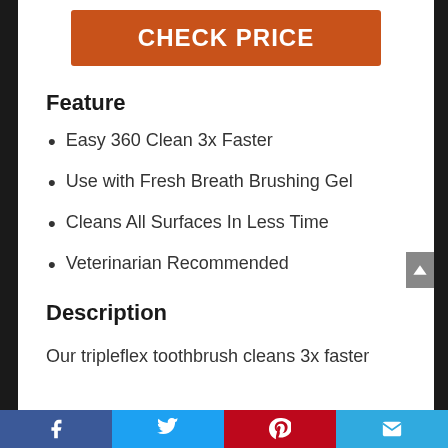CHECK PRICE
Feature
Easy 360 Clean 3x Faster
Use with Fresh Breath Brushing Gel
Cleans All Surfaces In Less Time
Veterinarian Recommended
Description
Our tripleflex toothbrush cleans 3x faster
Social share bar: Facebook, Twitter, Pinterest, Email